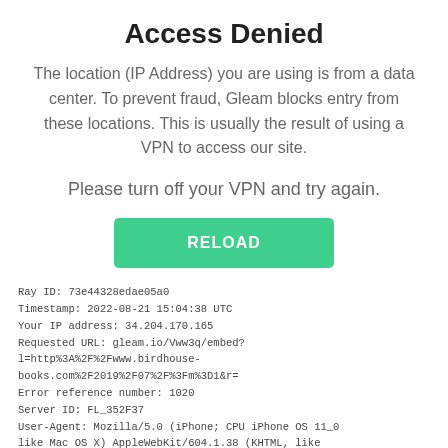Access Denied
The location (IP Address) you are using is from a data center. To prevent fraud, Gleam blocks entry from these locations. This is usually the result of using a VPN to access our site.
Please turn off your VPN and try again.
[Figure (other): Green RELOAD button]
Ray ID: 73e44328edae05a0
Timestamp: 2022-08-21 15:04:38 UTC
Your IP address: 34.204.170.165
Requested URL: gleam.io/Vww3q/embed?
l=http%3A%2F%2Fwww.birdhouse-books.com%2F2019%2F07%2F%3Fm%3D1&r=
Error reference number: 1020
Server ID: FL_352F37
User-Agent: Mozilla/5.0 (iPhone; CPU iPhone OS 11_0 like Mac OS X) AppleWebKit/604.1.38 (KHTML, like